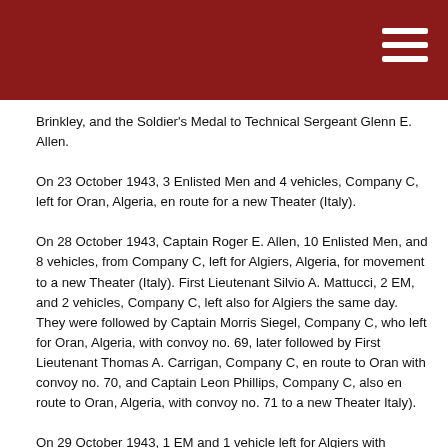Brinkley, and the Soldier's Medal to Technical Sergeant Glenn E. Allen.
On 23 October 1943, 3 Enlisted Men and 4 vehicles, Company C, left for Oran, Algeria, en route for a new Theater (Italy).
On 28 October 1943, Captain Roger E. Allen, 10 Enlisted Men, and 8 vehicles, from Company C, left for Algiers, Algeria, for movement to a new Theater (Italy). First Lieutenant Silvio A. Mattucci, 2 EM, and 2 vehicles, Company C, left also for Algiers the same day. They were followed by Captain Morris Siegel, Company C, who left for Oran, Algeria, with convoy no. 69, later followed by First Lieutenant Thomas A. Carrigan, Company C, en route to Oran with convoy no. 70, and Captain Leon Phillips, Company C, also en route to Oran, Algeria, with convoy no. 71 to a new Theater Italy).
On 29 October 1943, 1 EM and 1 vehicle left for Algiers with convoy no. 4, followed by another Enlisted Man and a vehicle en route for Algiers, Algeria, with convoy no. 5 for movement to